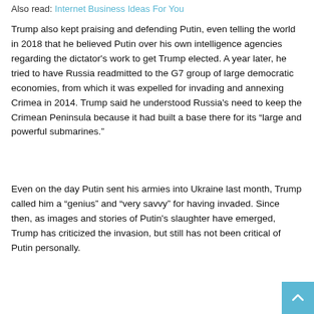Also read: Internet Business Ideas For You
Trump also kept praising and defending Putin, even telling the world in 2018 that he believed Putin over his own intelligence agencies regarding the dictator's work to get Trump elected. A year later, he tried to have Russia readmitted to the G7 group of large democratic economies, from which it was expelled for invading and annexing Crimea in 2014. Trump said he understood Russia's need to keep the Crimean Peninsula because it had built a base there for its “large and powerful submarines.”
Even on the day Putin sent his armies into Ukraine last month, Trump called him a “genius” and “very savvy” for having invaded. Since then, as images and stories of Putin's slaughter have emerged, Trump has criticized the invasion, but still has not been critical of Putin personally.